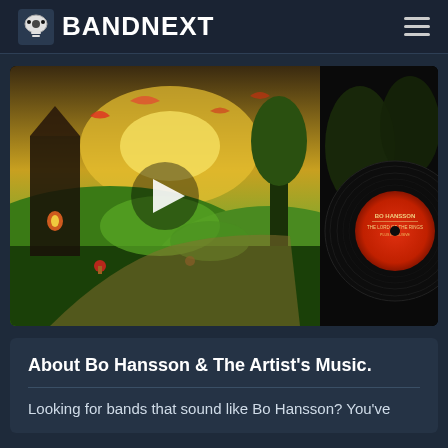BANDNEXT
[Figure (photo): A fantasy-themed vinyl record album cover showing a colorful painted scene with a hobbit-like cottage, dragons, and magical creatures in a lush green landscape. On the right side, a vinyl record is visible with a red label reading 'BO HANSSON'. A white play button triangle is overlaid in the center.]
About Bo Hansson & The Artist's Music.
Looking for bands that sound like Bo Hansson? You've